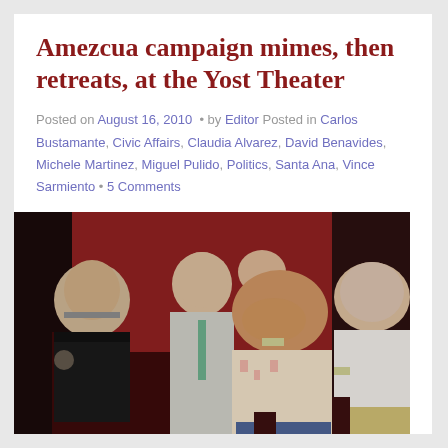Amezcua campaign mimes, then retreats, at the Yost Theater
Posted on August 16, 2010 • by Editor Posted in Carlos Bustamante, Civic Affairs, Claudia Alvarez, David Benavides, Michele Martinez, Miguel Pulido, Politics, Santa Ana, Vince Sarmiento • 5 Comments
[Figure (photo): Several people seated in theater chairs in a dark-red interior. Center person is covering their face with their hand. Another person in a suit to the left, and an older man in a white shirt to the right.]